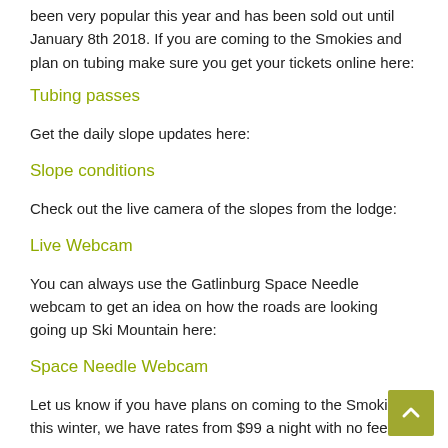been very popular this year and has been sold out until January 8th 2018. If you are coming to the Smokies and plan on tubing make sure you get your tickets online here:
Tubing passes
Get the daily slope updates here:
Slope conditions
Check out the live camera of the slopes from the lodge:
Live Webcam
You can always use the Gatlinburg Space Needle webcam to get an idea on how the roads are looking going up Ski Mountain here:
Space Needle Webcam
Let us know if you have plans on coming to the Smokies this winter, we have rates from $99 a night with no fees!